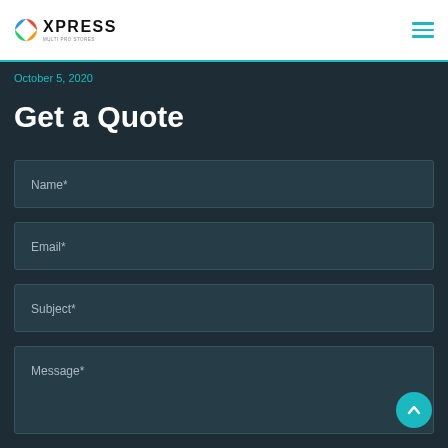XPRESS
October 5, 2020
Get a Quote
Name*
Email*
Subject*
Message*